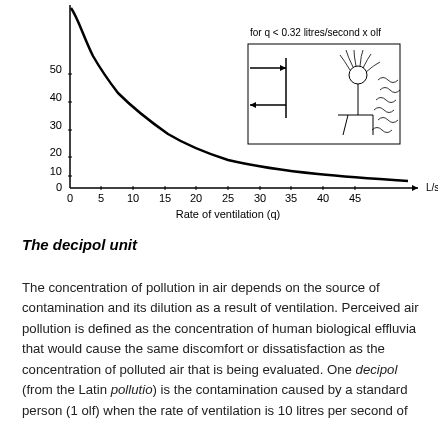[Figure (continuous-plot): Decay curve showing perceived air pollution (decipol, y-axis 0-50+) vs Rate of ventilation q (x-axis 0-50 L/s x olf). Curve starts very high near origin and decays sharply, approaching zero asymptotically. Annotation: 'for q < 0.32 litres/second x olf'. Inset diagram shows a person seated with airflow arrows indicating ventilation direction. Y-axis label: L/s x olf. X-axis label: Rate of ventilation (q).]
The decipol unit
The concentration of pollution in air depends on the source of contamination and its dilution as a result of ventilation. Perceived air pollution is defined as the concentration of human biological effluvia that would cause the same discomfort or dissatisfaction as the concentration of polluted air that is being evaluated. One decipol (from the Latin pollutio) is the contamination caused by a standard person (1 olf) when the rate of ventilation is 10 litres per second of